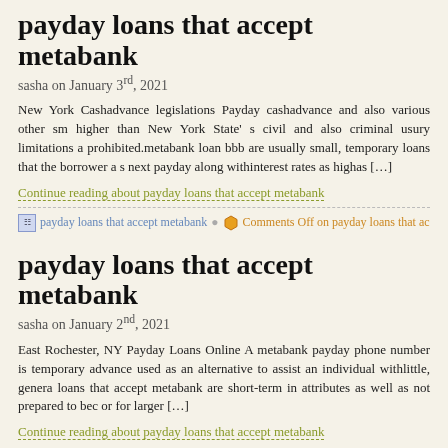payday loans that accept metabank
sasha on January 3rd, 2021
New York Cashadvance legislations Payday cashadvance and also various other sm higher than New York State' s civil and also criminal usury limitations a prohibited.metabank loan bbb are usually small, temporary loans that the borrower a s next payday along withinterest rates as highas […]
Continue reading about payday loans that accept metabank
payday loans that accept metabank   Comments Off on payday loans that acce
payday loans that accept metabank
sasha on January 2nd, 2021
East Rochester, NY Payday Loans Online A metabank payday phone number is temporary advance used as an alternative to assist an individual withlittle, genera loans that accept metabank are short-term in attributes as well as not prepared to bec or for larger […]
Continue reading about payday loans that accept metabank